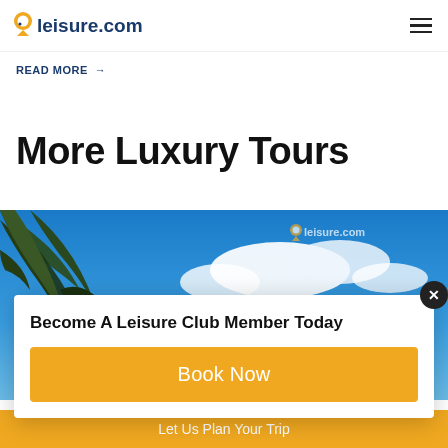leisure.com
READ MORE →
More Luxury Tours
[Figure (photo): Tropical outdoor scene showing drooping tree branches against a bright blue sky with white clouds, with leisure.com watermark in top right corner.]
Become A Leisure Club Member Today
Book Now
Let Us Plan Your Trip